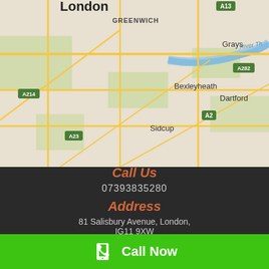[Figure (map): Google Maps screenshot showing London area including Greenwich, Bexleyheath, Dartford, Sidcup, Grays, River Thames. Road labels: A13, A282, A2, A214, A23.]
Call Us
07393835280
Address
81 Salisbury Avenue, London, IG11 9XW
Call Now